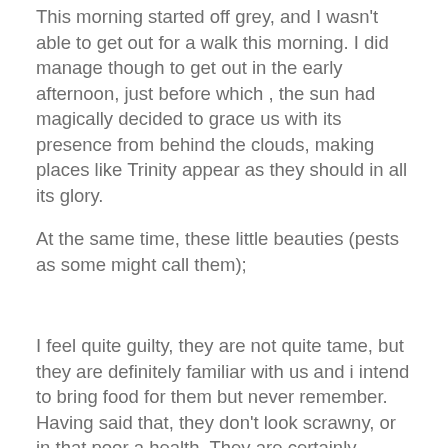This morning started off grey, and I wasn't able to get out for a walk this morning. I did manage though to get out in the early afternoon, just before which , the sun had magically decided to grace us with its presence from behind the clouds, making places like Trinity appear as they should in all its glory.
At the same time, these little beauties (pests as some might call them);
I feel quite guilty, they are not quite tame, but they are definitely familiar with us and i intend to bring food for them but never remember. Having said that, they don't look scrawny, or in that poor a health. They are certainly scampering around in a very spritely way.